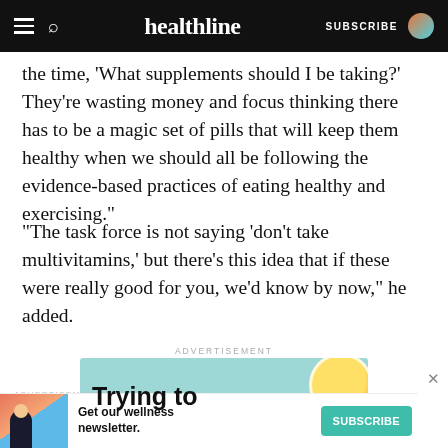healthline
the time, ‘What supplements should I be taking?’ They’re wasting money and focus thinking there has to be a magic set of pills that will keep them healthy when we should all be following the evidence-based practices of eating healthy and exercising.”
“The task force is not saying ‘don’t take multivitamins,’ but there’s this idea that if these were really good for you, we’d know by now,” he added.
ADVERTISEMENT
[Figure (illustration): Advertisement banner showing 'Trying to' text with lemon and checkmark graphics on teal background]
ADVERTISEMENT
[Figure (illustration): Bottom advertisement bar with wellness newsletter subscription prompt and Subscribe button]